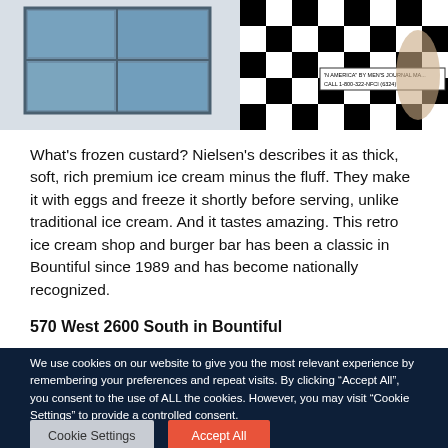[Figure (photo): A hand holding a checkered black and white cup/container with text reading 'IN AMERICA BY MEN'S JOURNAL MA... CALL 1-800-322-NFCI (6324)', in front of a building with windows.]
What's frozen custard? Nielsen's describes it as thick, soft, rich premium ice cream minus the fluff. They make it with eggs and freeze it shortly before serving, unlike traditional ice cream. And it tastes amazing. This retro ice cream shop and burger bar has been a classic in Bountiful since 1989 and has become nationally recognized.
570 West 2600 South in Bountiful
We use cookies on our website to give you the most relevant experience by remembering your preferences and repeat visits. By clicking "Accept All", you consent to the use of ALL the cookies. However, you may visit "Cookie Settings" to provide a controlled consent.